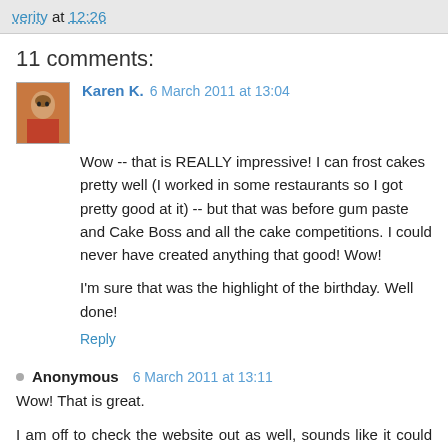verity at 12:26
11 comments:
Karen K.  6 March 2011 at 13:04
Wow -- that is REALLY impressive! I can frost cakes pretty well (I worked in some restaurants so I got pretty good at it) -- but that was before gum paste and Cake Boss and all the cake competitions. I could never have created anything that good! Wow!

I'm sure that was the highlight of the birthday. Well done!

Reply
Anonymous  6 March 2011 at 13:11
Wow! That is great.

I am off to check the website out as well, sounds like it could channel my baking skills for a purpose other than me